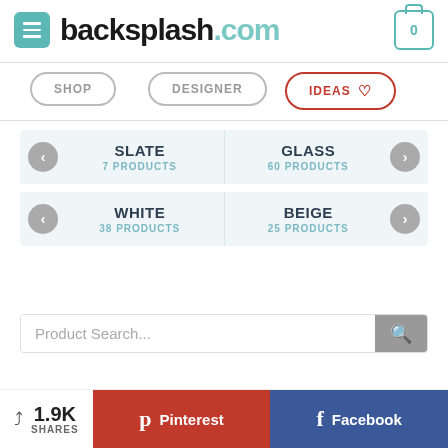[Figure (logo): backsplash.com logo with teal/dark text and navigation icons]
SHOP
DESIGNER
IDEAS ♡
SLATE
7 PRODUCTS
GLASS
60 PRODUCTS
WHITE
38 PRODUCTS
BEIGE
25 PRODUCTS
Product Search...
1.9K SHARES
Pinterest
Facebook